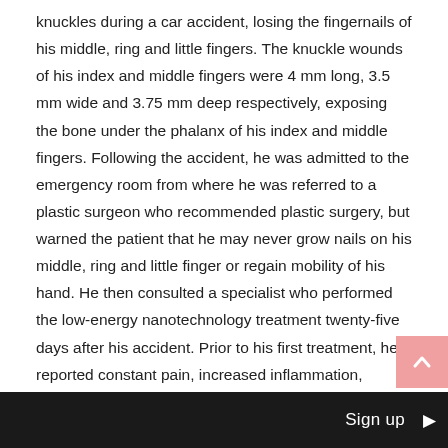knuckles during a car accident, losing the fingernails of his middle, ring and little fingers. The knuckle wounds of his index and middle fingers were 4 mm long, 3.5 mm wide and 3.75 mm deep respectively, exposing the bone under the phalanx of his index and middle fingers. Following the accident, he was admitted to the emergency room from where he was referred to a plastic surgeon who recommended plastic surgery, but warned the patient that he may never grow nails on his middle, ring and little finger or regain mobility of his hand. He then consulted a specialist who performed the low-energy nanotechnology treatment twenty-five days after his accident. Prior to his first treatment, he reported constant pain, increased inflammation, edema, and fever, despite taking oral antibiotics and treating the wound with an antibiotic cream. He received 12 treatments three times weekly for a month. Two weeks after the 12th treatment his hand had completely healed. All
Sign up